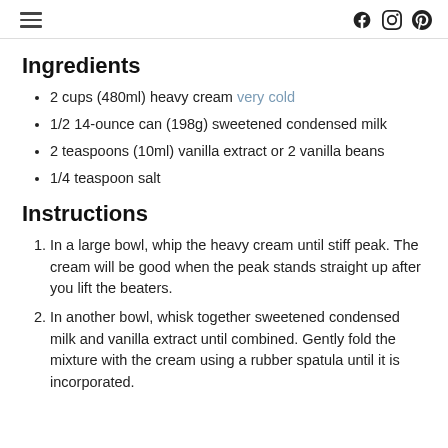Ingredients
2 cups (480ml) heavy cream very cold
1/2 14-ounce can (198g) sweetened condensed milk
2 teaspoons (10ml) vanilla extract or 2 vanilla beans
1/4 teaspoon salt
Instructions
In a large bowl, whip the heavy cream until stiff peak. The cream will be good when the peak stands straight up after you lift the beaters.
In another bowl, whisk together sweetened condensed milk and vanilla extract until combined. Gently fold the mixture with the cream using a rubber spatula until it is incorporated.